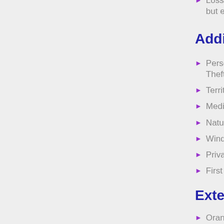Loss or dama... but excluding...
Additional bene...
Personal effe... Theft (Theft s...
Territorial limit...
Medical Expe...
Natural calam...
Windscreen c...
Private vehicl...
First Class wo...
Extensions avai...
Orange card t... the UAE
Personal acci...
Personal acci...
Road side ass...